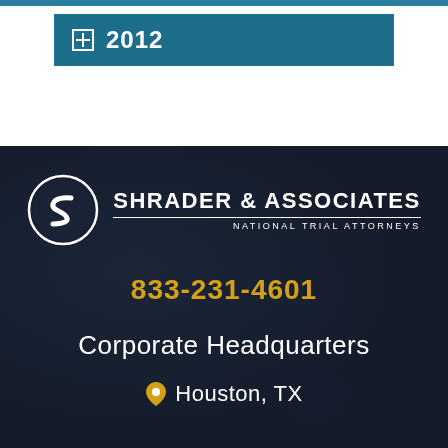2012
[Figure (logo): Shrader & Associates National Trial Attorneys logo — circular S emblem with company name]
833-231-4601
Corporate Headquarters
Houston, TX